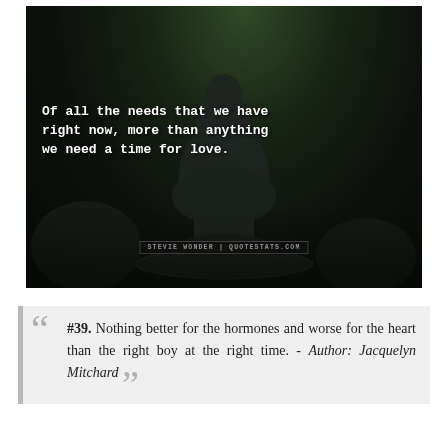[Figure (photo): Dark-toned photograph of a stone Buddha statue with a cat resting at its base on a decorative plate, surrounded by rocks and green foliage. Overlaid with a quote in bold monospace white text reading: 'Of all the needs that we have right now, more than anything we need a time for love.' Attribution label: STEVIE WONDER | QUOTESTATS.COM]
#39. Nothing better for the hormones and worse for the heart than the right boy at the right time. - Author: Jacquelyn Mitchard